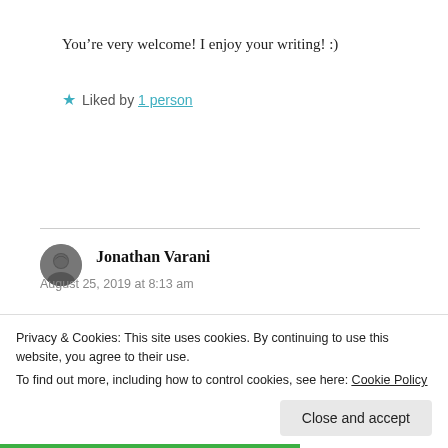You’re very welcome! I enjoy your writing! :)
★ Liked by 1 person
Jonathan Varani
August 25, 2019 at 8:13 am
This writing is a journey in parallel between the mind and
Privacy & Cookies: This site uses cookies. By continuing to use this website, you agree to their use. To find out more, including how to control cookies, see here: Cookie Policy